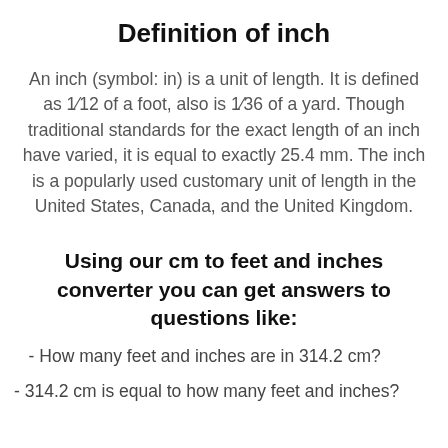Definition of inch
An inch (symbol: in) is a unit of length. It is defined as 1⁄12 of a foot, also is 1⁄36 of a yard. Though traditional standards for the exact length of an inch have varied, it is equal to exactly 25.4 mm. The inch is a popularly used customary unit of length in the United States, Canada, and the United Kingdom.
Using our cm to feet and inches converter you can get answers to questions like:
- How many feet and inches are in 314.2 cm?
- 314.2 cm is equal to how many feet and inches?